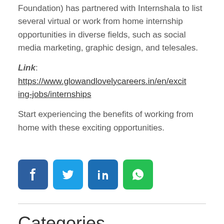Foundation) has partnered with Internshala to list several virtual or work from home internship opportunities in diverse fields, such as social media marketing, graphic design, and telesales.
Link:  https://www.glowandlovelycareers.in/en/exciting-jobs/internships
Start experiencing the benefits of working from home with these exciting opportunities.
[Figure (infographic): Social media sharing buttons: Facebook (blue), Twitter (light blue), LinkedIn (dark blue), WhatsApp (green)]
Categories